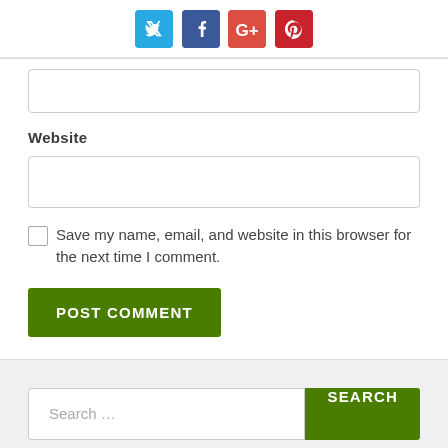[Figure (infographic): Social media sharing icons: Twitter (blue), Facebook (dark blue), Google+ (red-orange), Pinterest (red)]
[Figure (infographic): Empty text input field (partial, top of form)]
Website
[Figure (infographic): Empty Website text input field]
Save my name, email, and website in this browser for the next time I comment.
[Figure (infographic): POST COMMENT green button]
[Figure (infographic): Search input field with placeholder 'Search ...' and green SEARCH button]